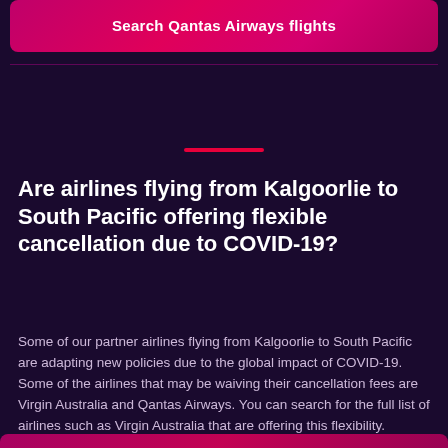Search Qantas Airways flights
Are airlines flying from Kalgoorlie to South Pacific offering flexible cancellation due to COVID-19?
Some of our partner airlines flying from Kalgoorlie to South Pacific are adapting new policies due to the global impact of COVID-19. Some of the airlines that may be waiving their cancellation fees are Virgin Australia and Qantas Airways. You can search for the full list of airlines such as Virgin Australia that are offering this flexibility.